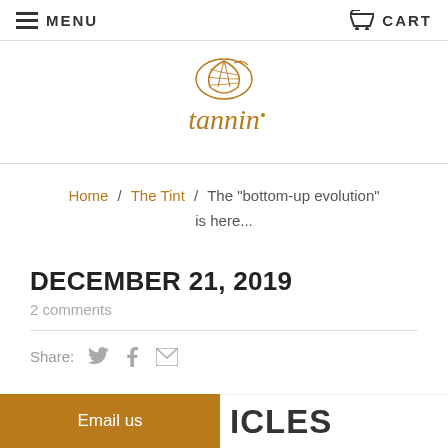MENU   CART
[Figure (logo): Tannin logo with leaf illustration above the word 'tannin' in brown serif font]
Home / The Tint / The "bottom-up evolution" is here...
DECEMBER 21, 2019
2 comments
Share:
Email us   ARTICLES